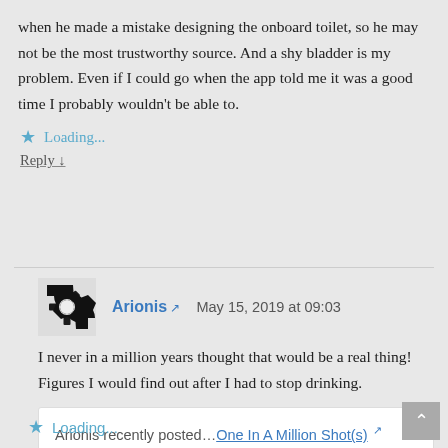when he made a mistake designing the onboard toilet, so he may not be the most trustworthy source. And a shy bladder is my problem. Even if I could go when the app told me it was a good time I probably wouldn't be able to.
Loading...
Reply ↓
Arionis   May 15, 2019 at 09:03
I never in a million years thought that would be a real thing! Figures I would find out after I had to stop drinking.
Arionis recently posted…One In A Million Shot(s)
Loading...